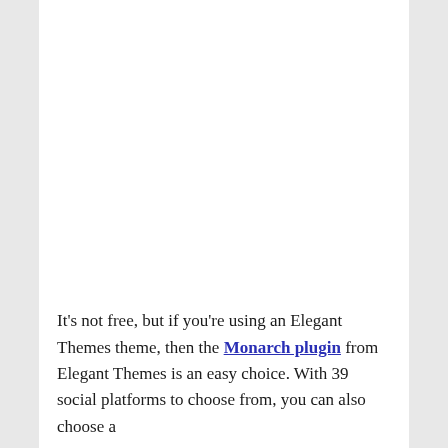It's not free, but if you're using an Elegant Themes theme, then the Monarch plugin from Elegant Themes is an easy choice. With 39 social platforms to choose from, you can also choose a